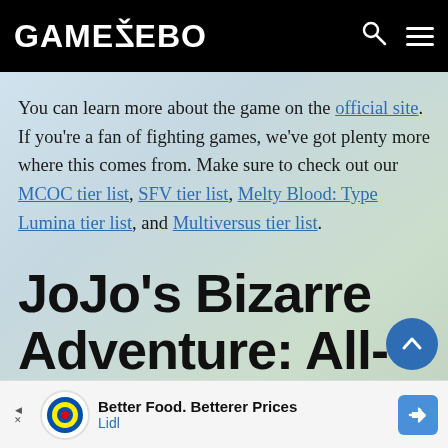GAMEZEBO
You can learn more about the game on the official site. If you're a fan of fighting games, we've got plenty more where this comes from. Make sure to check out our MCOC tier list, SFV tier list, Melty Blood: Type Lumina tier list, and Multiversus tier list.
JoJo's Bizarre Adventure: All-
Better Food. Betterer Prices Lidl